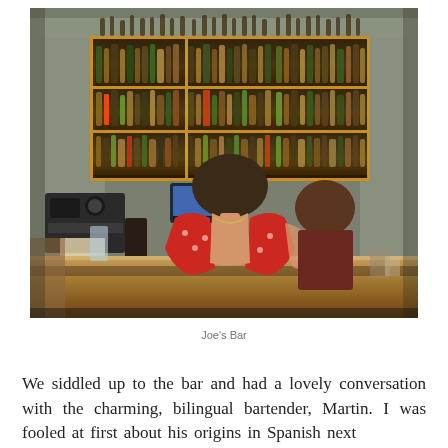[Figure (photo): Interior of Joe's Bar showing a well-stocked backlit wooden liquor shelf with many bottles, two people standing at the bar counter — one woman in a red floral dress viewed from behind, and one person in dark clothing — along with espresso machine and POS terminal on the bar.]
Joe's Bar
We siddled up to the bar and had a lovely conversation with the charming, bilingual bartender, Martin. I was fooled at first about his origins in Spanish next